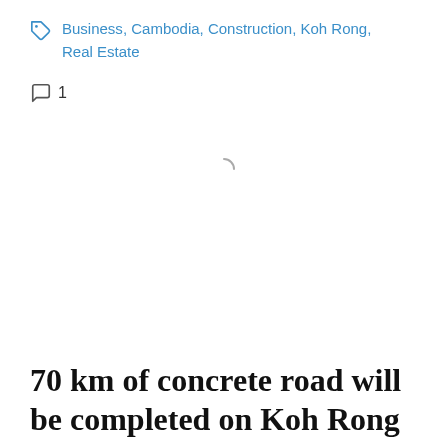Business, Cambodia, Construction, Koh Rong, Real Estate
1
[Figure (other): Loading spinner icon (partial circle arc) indicating content is loading]
70 km of concrete road will be completed on Koh Rong